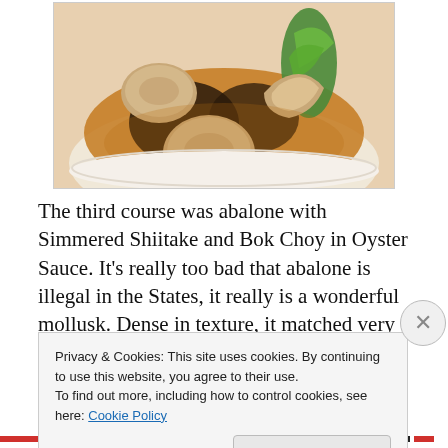[Figure (photo): A bowl with abalone, simmered shiitake mushrooms, and bok choy in oyster sauce, in a white bowl with brown broth.]
The third course was abalone with Simmered Shiitake and Bok Choy in Oyster Sauce. It’s really too bad that abalone is illegal in the States, it really is a wonderful mollusk. Dense in texture, it matched very well with the soft shiitake
Privacy & Cookies: This site uses cookies. By continuing to use this website, you agree to their use.
To find out more, including how to control cookies, see here: Cookie Policy
Close and accept